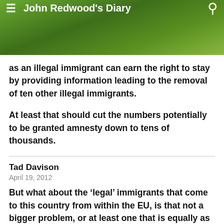John Redwood's Diary
as an illegal immigrant can earn the right to stay by providing information leading to the removal of ten other illegal immigrants.
At least that should cut the numbers potentially to be granted amnesty down to tens of thousands.
Tad Davison
April 19, 2012
But what about the ‘legal’ immigrants that come to this country from within the EU, is that not a bigger problem, or at least one that is equally as big?